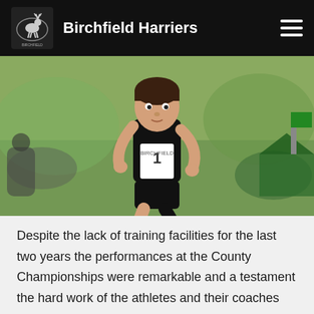Birchfield Harriers
[Figure (photo): Young boy wearing black Birchfield Harriers vest and race number running at an outdoor athletics event, green blurred background with spectators]
Despite the lack of training facilities for the last two years the performances at the County Championships were remarkable and a testament the hard work of the athletes and their coaches